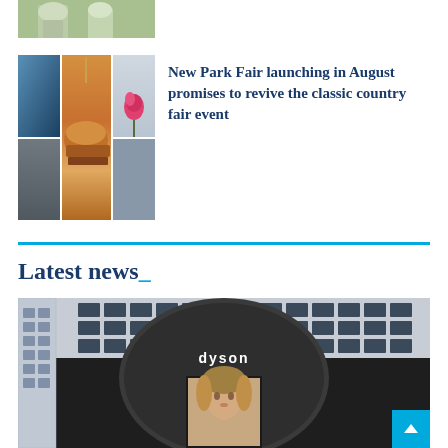[Figure (photo): Partial view of an outdoor photo showing what appears to be a stone statue or garden scene with greenery]
[Figure (photo): Three-panel collage: left panel shows a blue car door; center panel shows hands holding a gourmet burger with a skewer; right panel shows a pink/red rose in a vase]
New Park Fair launching in August promises to revive the classic country fair event
Latest news_
[Figure (photo): Exterior of a Dyson pop-up store or kiosk with a dark cylindrical structure featuring the Dyson logo, a digital display screen showing a woman's face, set against a modern glass-fronted building and street scene]